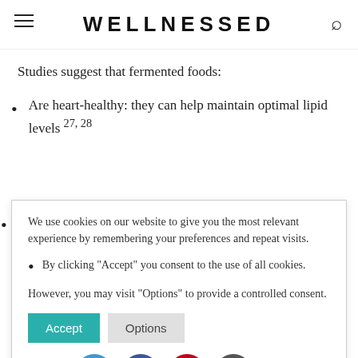WELLNESSED
Studies suggest that fermented foods:
Are heart-healthy: they can help maintain optimal lipid levels 27, 28
We use cookies on our website to give you the most relevant experience by remembering your preferences and repeat visits.
By clicking "Accept" you consent to the use of all cookies.
However, you may visit "Options" to provide a controlled consent.
Are cancer-protective 47